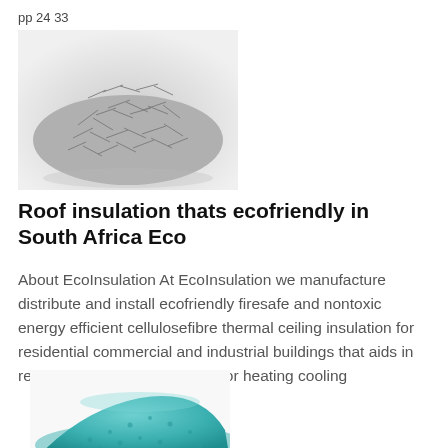pp 24 33
[Figure (photo): Grayscale photograph of a pile of cellulose fibre insulation material — shredded grey fibrous pieces heaped together]
Roof insulation thats ecofriendly in South Africa Eco
About EcoInsulation At EcoInsulation we manufacture distribute and install ecofriendly firesafe and nontoxic energy efficient cellulosefibre thermal ceiling insulation for residential commercial and industrial buildings that aids in reducing the energy required for heating cooling
[Figure (photo): Partially visible photograph of a pile of teal/green granular insulation material]